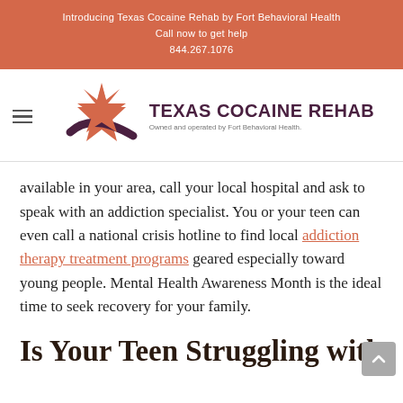Introducing Texas Cocaine Rehab by Fort Behavioral Health
Call now to get help
844.267.1076
[Figure (logo): Texas Cocaine Rehab logo with a star/swoosh graphic and text 'TEXAS COCAINE REHAB – Owned and operated by Fort Behavioral Health.']
available in your area, call your local hospital and ask to speak with an addiction specialist. You or your teen can even call a national crisis hotline to find local addiction therapy treatment programs geared especially toward young people. Mental Health Awareness Month is the ideal time to seek recovery for your family.
Is Your Teen Struggling with